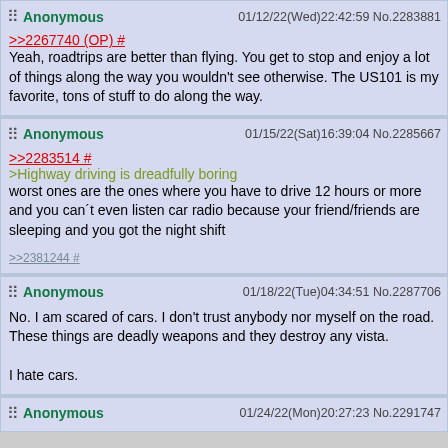Anonymous 01/12/22(Wed)22:42:59 No.2283881
>>2267740 (OP) #
Yeah, roadtrips are better than flying. You get to stop and enjoy a lot of things along the way you wouldn't see otherwise. The US101 is my favorite, tons of stuff to do along the way.
Anonymous 01/15/22(Sat)16:39:04 No.2285667
>>2283514 #
>Highway driving is dreadfully boring
worst ones are the ones where you have to drive 12 hours or more and you can´t even listen car radio because your friend/friends are sleeping and you got the night shift
>>2381244 #
Anonymous 01/18/22(Tue)04:34:51 No.2287706
No. I am scared of cars. I don't trust anybody nor myself on the road.
These things are deadly weapons and they destroy any vista.

I hate cars.
Anonymous 01/24/22(Mon)20:27:23 No.2291747